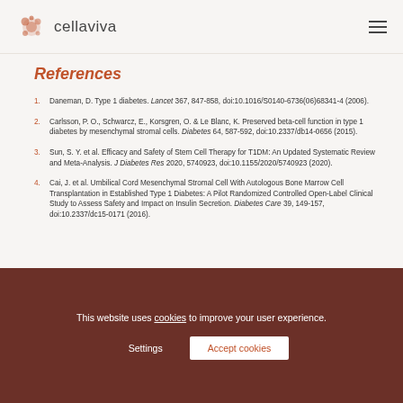cellaviva
References
Daneman, D. Type 1 diabetes. Lancet 367, 847-858, doi:10.1016/S0140-6736(06)68341-4 (2006).
Carlsson, P. O., Schwarcz, E., Korsgren, O. & Le Blanc, K. Preserved beta-cell function in type 1 diabetes by mesenchymal stromal cells. Diabetes 64, 587-592, doi:10.2337/db14-0656 (2015).
Sun, S. Y. et al. Efficacy and Safety of Stem Cell Therapy for T1DM: An Updated Systematic Review and Meta-Analysis. J Diabetes Res 2020, 5740923, doi:10.1155/2020/5740923 (2020).
Cai, J. et al. Umbilical Cord Mesenchymal Stromal Cell With Autologous Bone Marrow Cell Transplantation in Established Type 1 Diabetes: A Pilot Randomized Controlled Open-Label Clinical Study to Assess Safety and Impact on Insulin Secretion. Diabetes Care 39, 149-157, doi:10.2337/dc15-0171 (2016).
This website uses cookies to improve your user experience.